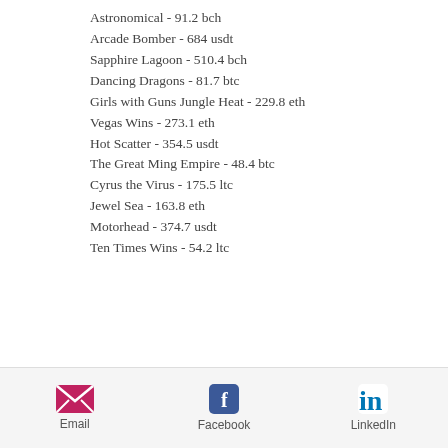Astronomical - 91.2 bch
Arcade Bomber - 684 usdt
Sapphire Lagoon - 510.4 bch
Dancing Dragons - 81.7 btc
Girls with Guns Jungle Heat - 229.8 eth
Vegas Wins - 273.1 eth
Hot Scatter - 354.5 usdt
The Great Ming Empire - 48.4 btc
Cyrus the Virus - 175.5 ltc
Jewel Sea - 163.8 eth
Motorhead - 374.7 usdt
Ten Times Wins - 54.2 ltc
New Games:
Sportsbet.io Eagles Wings
CryptoGames Jack's Beanstalk
CryptoGames Purple Hot 2
Boni.io Casino Dragons Power
Email | Facebook | LinkedIn